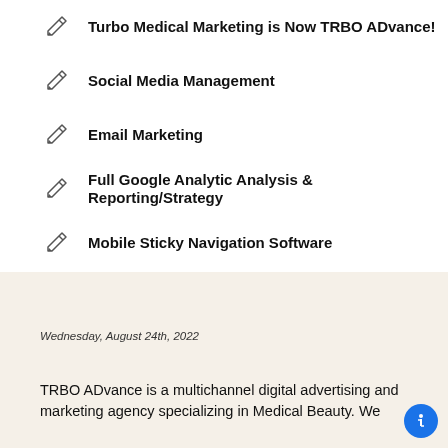Turbo Medical Marketing is Now TRBO ADvance!
Social Media Management
Email Marketing
Full Google Analytic Analysis & Reporting/Strategy
Mobile Sticky Navigation Software
Wednesday, August 24th, 2022
TRBO ADvance is a multichannel digital advertising and marketing agency specializing in Medical Beauty. We